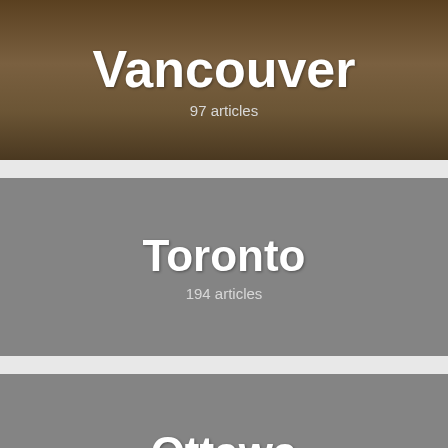[Figure (screenshot): Vancouver city card with dark brown gradient background, showing city name and article count]
97 articles
[Figure (screenshot): Toronto city card with gray background, showing city name and article count]
194 articles
[Figure (screenshot): Ottawa city card with gray background, showing city name and article count]
36 articles